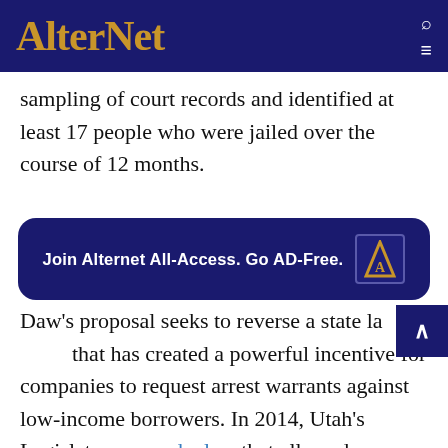AlterNet
sampling of court records and identified at least 17 people who were jailed over the course of 12 months.
[Figure (other): AlterNet All-Access AD-Free promotional banner with logo]
Daw's proposal seeks to reverse a state law that has created a powerful incentive for companies to request arrest warrants against low-income borrowers. In 2014, Utah's Legislature passed a law that allowed creditors to obtain bail money posted in a civil case